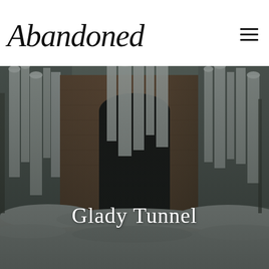Abandoned
[Figure (photo): Winter photograph of the Glady Tunnel entrance covered in large icicles and snow. The tunnel opening is dark and flanked by brick/stone walls with massive frozen formations hanging down. Snow covers the ground and surrounding trees.]
Glady Tunnel